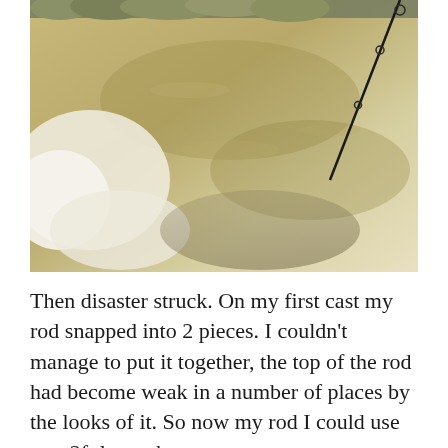[Figure (photo): Photograph of muddy water surface, possibly a flooded river or lake. Vegetation visible at the top of the frame, a fishing rod tip visible in the upper right corner.]
Then disaster struck. On my first cast my rod snapped into 2 pieces. I couldn't manage to put it together, the top of the rod had become weak in a number of places by the looks of it. So now my rod I could use was 2ft long, the snap